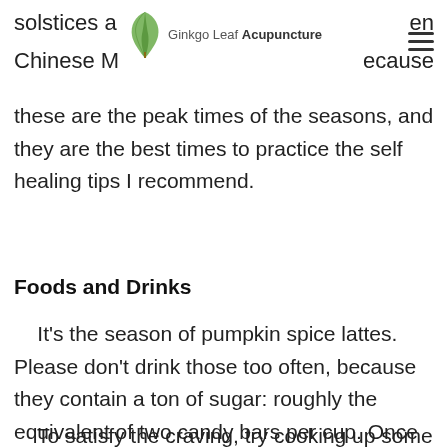Ginkgo Leaf Acupuncture
solstices a… en Chinese M… because these are the peak times of the seasons, and they are the best times to practice the self healing tips I recommend.
Foods and Drinks
It's the season of pumpkin spice lattes. Please don't drink those too often, because they contain a ton of sugar: roughly the equivalent of two candy bars per cup. Once during the whole season is probably the smartest option.
To satisfy the craving, try cooking up some